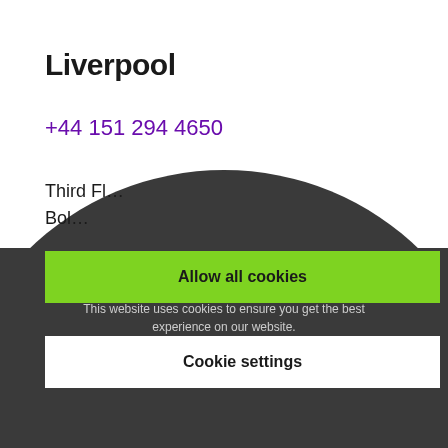Liverpool
+44 151 294 4650
Third Fl...
Bol...
About cookies on this site
This website uses cookies to ensure you get the best experience on our website.
Learn more
Allow all cookies
Cookie settings